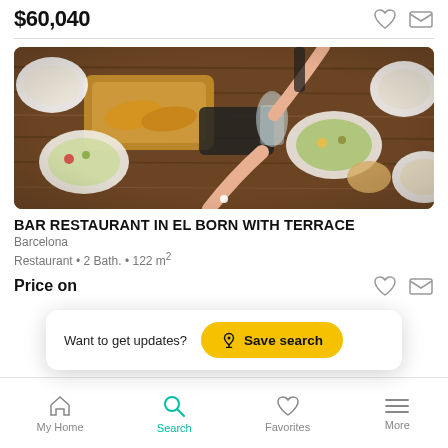$60,040
[Figure (photo): Aerial view of a wooden table with various food dishes, salads, bowls, and hands reaching across — a restaurant dining scene from above]
BAR RESTAURANT IN EL BORN WITH TERRACE
Barcelona
Restaurant • 2 Bath. • 122 m²
Price on
Want to get updates?  Save search
My Home   Search   Favorites   More